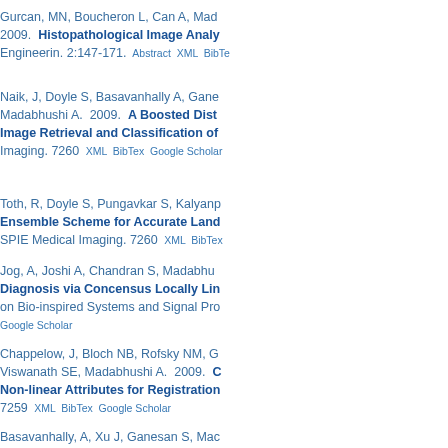Gurcan, MN, Boucheron L, Can A, Mad... 2009. Histopathological Image Analy... Engineerin. 2:147-171. Abstract XML BibTe...
Naik, J, Doyle S, Basavanhally A, Gane... Madabhushi A. 2009. A Boosted Dist... Image Retrieval and Classification of... Imaging. 7260 XML BibTex Google Scholar
Toth, R, Doyle S, Pungavkar S, Kalyan... Ensemble Scheme for Accurate Lanc... SPIE Medical Imaging. 7260 XML BibTe...
Jog, A, Joshi A, Chandran S, Madabhu... Diagnosis via Concensus Locally Li... on Bio-inspired Systems and Signal Pr... Google Scholar
Chappelow, J, Bloch NB, Rofsky NM, G... Viswanath SE, Madabhushi A. 2009. C... Non-linear Attributes for Registratio... 7259 XML BibTex Google Scholar
Basavanhally, A, Xu J, Ganesan S, Ma... ...147-177...